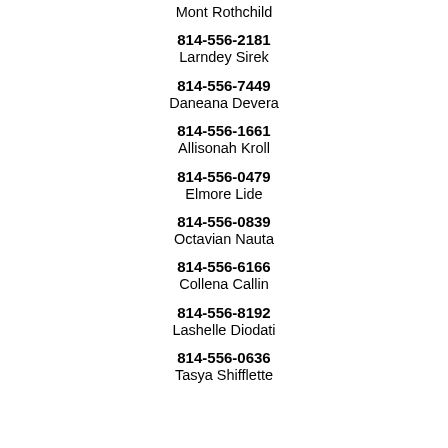Mont Rothchild
814-556-2181
Larndey Sirek
814-556-7449
Daneana Devera
814-556-1661
Allisonah Kroll
814-556-0479
Elmore Lide
814-556-0839
Octavian Nauta
814-556-6166
Collena Callin
814-556-8192
Lashelle Diodati
814-556-0636
Tasya Shifflette